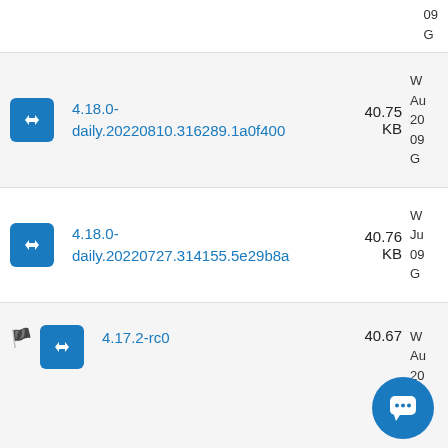4.18.0-daily.20220810.316289.1a0f400 40.75 KB W Au 20 09 G
4.18.0-daily.20220727.314155.5e29b8a 40.76 KB W Ju 09 G
4.17.2-rc0 40.67 W Au 20 21 G